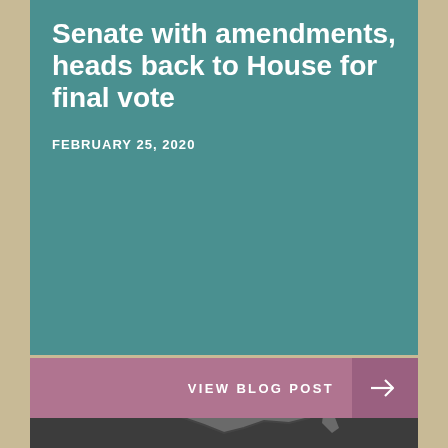Senate with amendments, heads back to House for final vote
FEBRUARY 25, 2020
VIEW BLOG POST →
[Figure (logo): VACo logo — stylized Virginia state map outline in gray on dark background with 'VACo' text overlay]